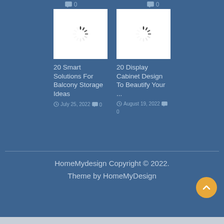0
0
[Figure (screenshot): Loading spinner placeholder image for blog post about balcony storage ideas]
20 Smart Solutions For Balcony Storage Ideas
July 25, 2022   0
[Figure (screenshot): Loading spinner placeholder image for blog post about display cabinet design]
20 Display Cabinet Design To Beautify Your ...
August 19, 2022   0
HomeMydesign Copyright © 2022. Theme by HomeMyDesign